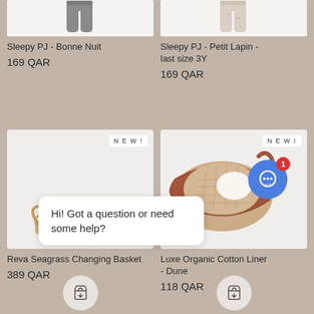[Figure (photo): Gray children's pajama pants (Bonne Nuit) cropped at top]
Sleepy PJ - Bonne Nuit
169 QAR
[Figure (photo): Beige/cream children's pajama pants (Petit Lapin) cropped at top]
Sleepy PJ - Petit Lapin - last size 3Y
169 QAR
[Figure (photo): Reva Seagrass Changing Basket - natural woven oval basket with handles, NEW! badge]
Reva Seagrass Changing Basket
389 QAR
[Figure (photo): Luxe Organic Cotton Liner - Dune - terracotta/brown woven basket with quilted lining, NEW! badge]
Luxe Organic Cotton Liner - Dune
118 QAR
Hi! Got a question or need some help?